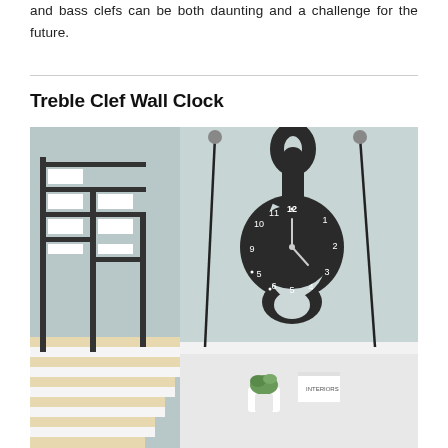and bass clefs can be both daunting and a challenge for the future.
Treble Clef Wall Clock
[Figure (photo): A black treble clef shaped wall clock mounted on a light blue-grey wall above a white shelf. The clock face shows numbers 1-12 within the circular part of the treble clef symbol. On the shelf below are a small succulent plant in a white pot and a book labeled 'INTERIORS'. To the left is a modern staircase with geometric black and white railing. Two black cables hang from wall-mounted devices on either side of the shelf.]